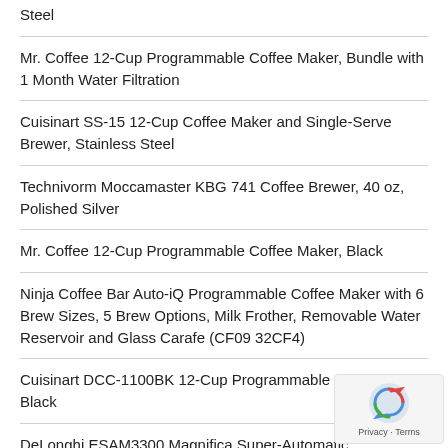Steel
Mr. Coffee 12-Cup Programmable Coffee Maker, Bundle with 1 Month Water Filtration
Cuisinart SS-15 12-Cup Coffee Maker and Single-Serve Brewer, Stainless Steel
Technivorm Moccamaster KBG 741 Coffee Brewer, 40 oz, Polished Silver
Mr. Coffee 12-Cup Programmable Coffee Maker, Black
Ninja Coffee Bar Auto-iQ Programmable Coffee Maker with 6 Brew Sizes, 5 Brew Options, Milk Frother, Removable Water Reservoir and Glass Carafe (CF09 32CF4)
Cuisinart DCC-1100BK 12-Cup Programmable Coffeemaker, Black
DeLonghi ESAM3300 Magnifica Super-Automatic Espresso/Coffee Machine